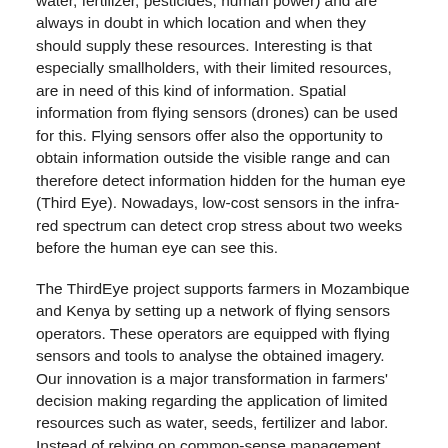water, fertilizer, pesticides, human power) and are always in doubt in which location and when they should supply these resources. Interesting is that especially smallholders, with their limited resources, are in need of this kind of information. Spatial information from flying sensors (drones) can be used for this. Flying sensors offer also the opportunity to obtain information outside the visible range and can therefore detect information hidden for the human eye (Third Eye). Nowadays, low-cost sensors in the infra-red spectrum can detect crop stress about two weeks before the human eye can see this.
The ThirdEye project supports farmers in Mozambique and Kenya by setting up a network of flying sensors operators. These operators are equipped with flying sensors and tools to analyse the obtained imagery. Our innovation is a major transformation in farmers' decision making regarding the application of limited resources such as water, seeds, fertilizer and labor. Instead of relying on common-sense management, farmers are now able to take decisions based on facts, resulting in an increase in water productivity. The flying sensor information helps farmers to see when and where they should apply their limited resources. We are convinced that this innovation is a real game-changing comparable with the